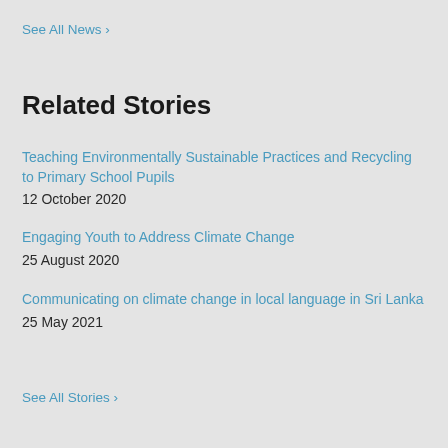See All News ›
Related Stories
Teaching Environmentally Sustainable Practices and Recycling to Primary School Pupils
12 October 2020
Engaging Youth to Address Climate Change
25 August 2020
Communicating on climate change in local language in Sri Lanka
25 May 2021
See All Stories ›